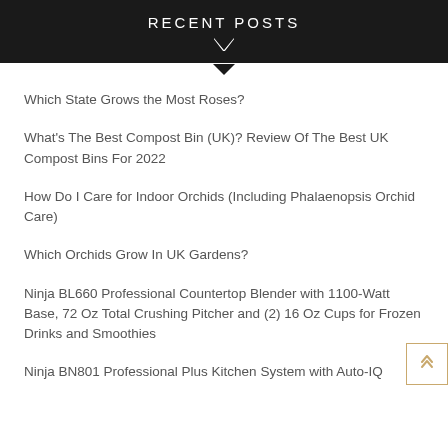RECENT POSTS
Which State Grows the Most Roses?
What's The Best Compost Bin (UK)? Review Of The Best UK Compost Bins For 2022
How Do I Care for Indoor Orchids (Including Phalaenopsis Orchid Care)
Which Orchids Grow In UK Gardens?
Ninja BL660 Professional Countertop Blender with 1100-Watt Base, 72 Oz Total Crushing Pitcher and (2) 16 Oz Cups for Frozen Drinks and Smoothies
Ninja BN801 Professional Plus Kitchen System with Auto-IQ